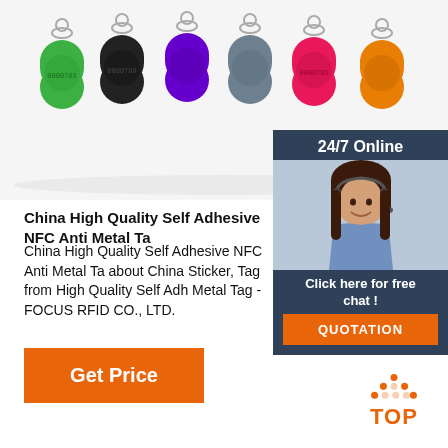[Figure (photo): Product photo showing 7 colorful RFID key fobs in green, black, purple, gray, pink/red, and orange colors, each with a metal ring at top, arranged in a row on white background.]
[Figure (photo): 24/7 Online chat widget with a female customer service agent wearing a headset, overlaying the right side of the page. Includes 'Click here for free chat!' text and an orange QUOTATION button.]
China High Quality Self Adhesive NFC Anti Metal Ta
China High Quality Self Adhesive NFC Anti Metal Ta about China Sticker, Tag from High Quality Self Adh Metal Tag - FOCUS RFID CO., LTD.
[Figure (other): Orange 'Get Price' button]
[Figure (other): Orange 'TOP' button with dot pattern arrow pointing up]